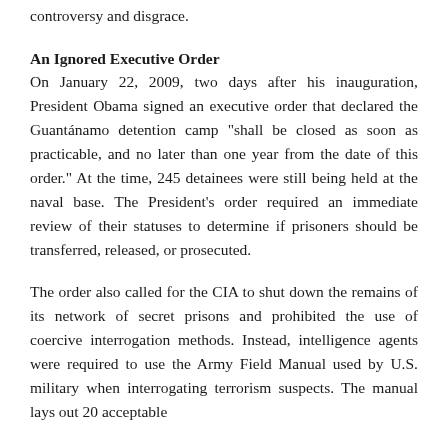controversy and disgrace.
An Ignored Executive Order
On January 22, 2009, two days after his inauguration, President Obama signed an executive order that declared the Guantánamo detention camp “shall be closed as soon as practicable, and no later than one year from the date of this order.” At the time, 245 detainees were still being held at the naval base. The President’s order required an immediate review of their statuses to determine if prisoners should be transferred, released, or prosecuted.
The order also called for the CIA to shut down the remains of its network of secret prisons and prohibited the use of coercive interrogation methods. Instead, intelligence agents were required to use the Army Field Manual used by U.S. military when interrogating terrorism suspects. The manual lays out 20 acceptable